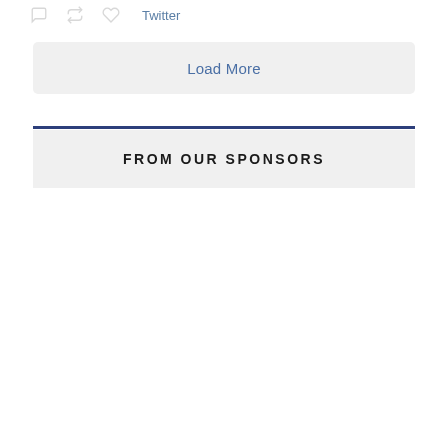[Figure (screenshot): Twitter action icons: comment bubble, retweet arrows, heart/like icon]
Twitter
Load More
FROM OUR SPONSORS